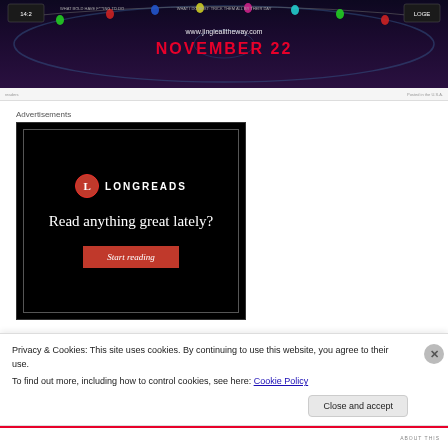[Figure (photo): Hockey rink promotional banner with colorful lights, showing NOVEMBER 22 in red text and www.jinglealltheway.com URL on dark background]
Advertisements
[Figure (illustration): Longreads advertisement on black background with logo circle L, text 'Read anything great lately?' and red 'Start reading' button]
Privacy & Cookies: This site uses cookies. By continuing to use this website, you agree to their use.
To find out more, including how to control cookies, see here: Cookie Policy
Close and accept